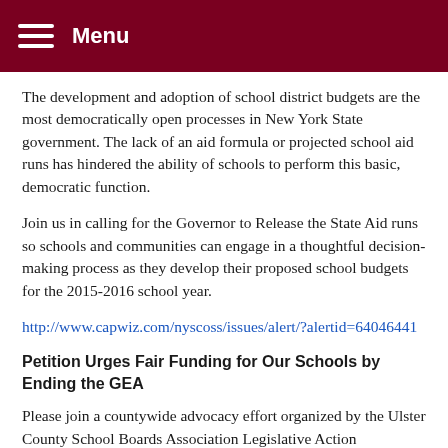Menu
The development and adoption of school district budgets are the most democratically open processes in New York State government. The lack of an aid formula or projected school aid runs has hindered the ability of schools to perform this basic, democratic function.
Join us in calling for the Governor to Release the State Aid runs so schools and communities can engage in a thoughtful decision-making process as they develop their proposed school budgets for the 2015-2016 school year.
http://www.capwiz.com/nyscoss/issues/alert/?alertid=64046441
Petition Urges Fair Funding for Our Schools by Ending the GEA
Please join a countywide advocacy effort organized by the Ulster County School Boards Association Legislative Action Committee calling for our State